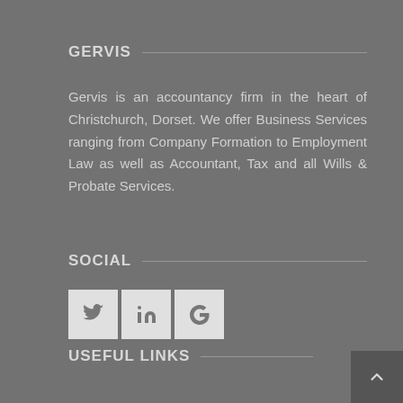GERVIS
Gervis is an accountancy firm in the heart of Christchurch, Dorset. We offer Business Services ranging from Company Formation to Employment Law as well as Accountant, Tax and all Wills & Probate Services.
SOCIAL
[Figure (other): Three social media icon buttons: Twitter (bird icon), LinkedIn (in icon), Google+ (g+ icon)]
USEFUL LINKS